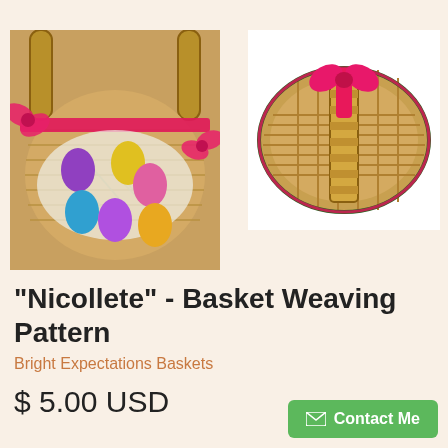[Figure (photo): Close-up top-down view of a woven basket decorated with pink ribbons and bows, containing colorful Easter eggs (purple, blue, pink, yellow) on white shredded filler.]
[Figure (photo): Top-down view of an oval woven basket with pink ribbon bow and pink/green trim, viewed from above showing the woven pattern interior.]
"Nicollete" - Basket Weaving Pattern
Bright Expectations Baskets
$ 5.00 USD
Contact Me